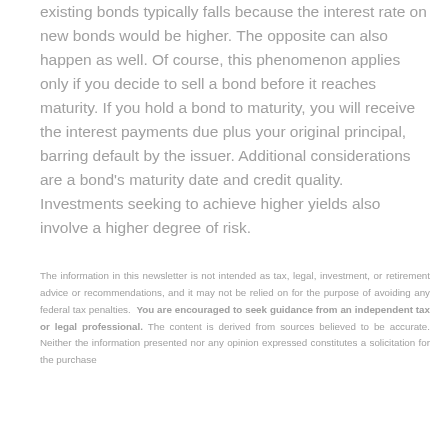existing bonds typically falls because the interest rate on new bonds would be higher. The opposite can also happen as well. Of course, this phenomenon applies only if you decide to sell a bond before it reaches maturity. If you hold a bond to maturity, you will receive the interest payments due plus your original principal, barring default by the issuer. Additional considerations are a bond's maturity date and credit quality. Investments seeking to achieve higher yields also involve a higher degree of risk.
The information in this newsletter is not intended as tax, legal, investment, or retirement advice or recommendations, and it may not be relied on for the purpose of avoiding any federal tax penalties. You are encouraged to seek guidance from an independent tax or legal professional. The content is derived from sources believed to be accurate. Neither the information presented nor any opinion expressed constitutes a solicitation for the purchase